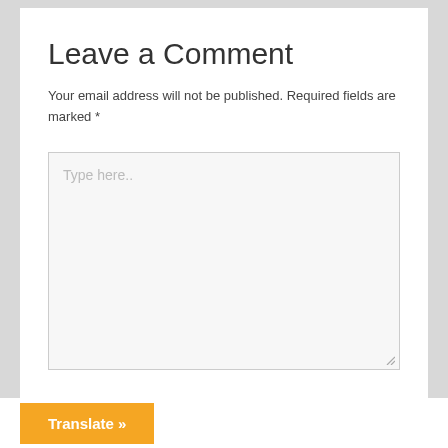Leave a Comment
Your email address will not be published. Required fields are marked *
[Figure (screenshot): A text area input box with placeholder text 'Type here..' and a resize handle in the bottom-right corner]
Translate »